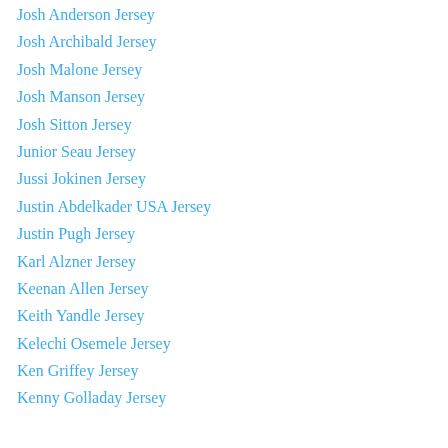Josh Anderson Jersey
Josh Archibald Jersey
Josh Malone Jersey
Josh Manson Jersey
Josh Sitton Jersey
Junior Seau Jersey
Jussi Jokinen Jersey
Justin Abdelkader USA Jersey
Justin Pugh Jersey
Karl Alzner Jersey
Keenan Allen Jersey
Keith Yandle Jersey
Kelechi Osemele Jersey
Ken Griffey Jersey
Kenny Golladay Jersey